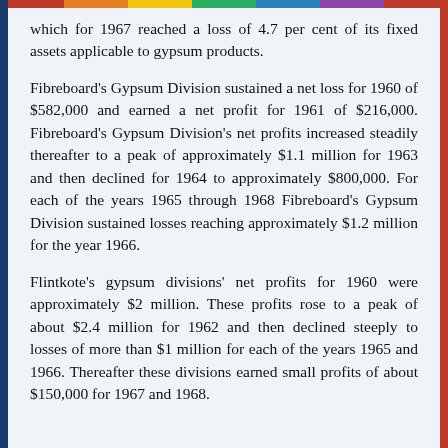which for 1967 reached a loss of 4.7 per cent of its fixed assets applicable to gypsum products.
Fibreboard's Gypsum Division sustained a net loss for 1960 of $582,000 and earned a net profit for 1961 of $216,000. Fibreboard's Gypsum Division's net profits increased steadily thereafter to a peak of approximately $1.1 million for 1963 and then declined for 1964 to approximately $800,000. For each of the years 1965 through 1968 Fibreboard's Gypsum Division sustained losses reaching approximately $1.2 million for the year 1966.
Flintkote's gypsum divisions' net profits for 1960 were approximately $2 million. These profits rose to a peak of about $2.4 million for 1962 and then declined steeply to losses of more than $1 million for each of the years 1965 and 1966. Thereafter these divisions earned small profits of about $150,000 for 1967 and 1968.